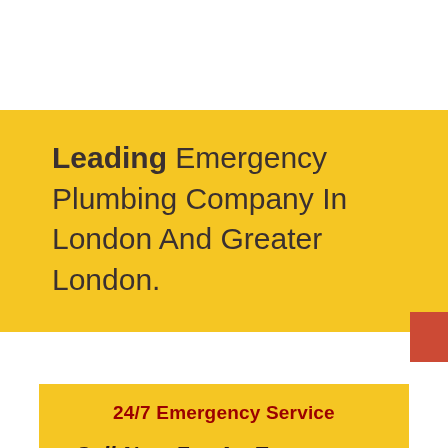Leading Emergency Plumbing Company In London And Greater London.
24/7 Emergency Service
Call Now For An Emergency